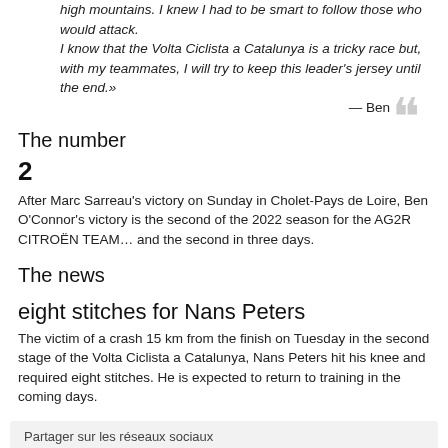high mountains. I knew I had to be smart to follow those who would attack. I know that the Volta Ciclista a Catalunya is a tricky race but, with my teammates, I will try to keep this leader's jersey until the end.»
— Ben
The number
2
After Marc Sarreau's victory on Sunday in Cholet-Pays de Loire, Ben O'Connor's victory is the second of the 2022 season for the AG2R CITROËN TEAM… and the second in three days.
The news
eight stitches for Nans Peters
The victim of a crash 15 km from the finish on Tuesday in the second stage of the Volta Ciclista a Catalunya, Nans Peters hit his knee and required eight stitches. He is expected to return to training in the coming days.
Partager sur les réseaux sociaux